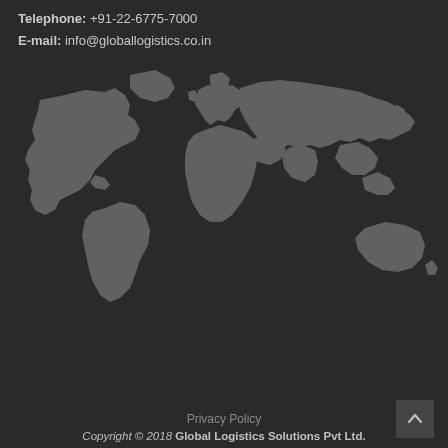Telephone: +91-22-6775-7000
E-mail: info@globallogistics.co.in
[Figure (map): Silhouette world map in grey on dark background]
Privacy Policy
Copyright © 2018 Global Logistics Solutions Pvt Ltd.